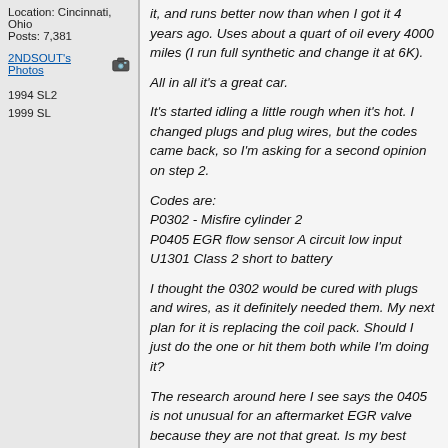Location: Cincinnati, Ohio
Posts: 7,381
2NDSOUT's Photos
1994 SL2
1999 SL
it, and runs better now than when I got it 4 years ago. Uses about a quart of oil every 4000 miles (I run full synthetic and change it at 6K).
All in all it's a great car.
It's started idling a little rough when it's hot. I changed plugs and plug wires, but the codes came back, so I'm asking for a second opinion on step 2.
Codes are:
P0302 - Misfire cylinder 2
P0405 EGR flow sensor A circuit low input
U1301 Class 2 short to battery
I thought the 0302 would be cured with plugs and wires, as it definitely needed them. My next plan for it is replacing the coil pack. Should I just do the one or hit them both while I'm doing it?
The research around here I see says the 0405 is not unusual for an aftermarket EGR valve because they are not that great. Is my best option to